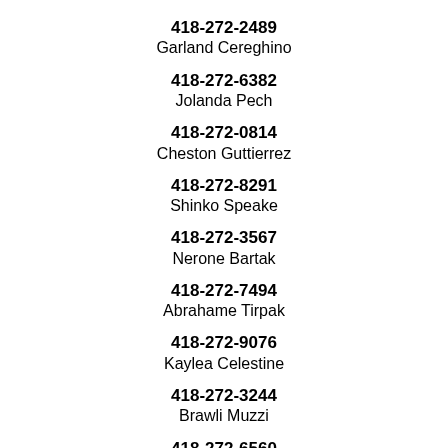418-272-2489
Garland Cereghino
418-272-6382
Jolanda Pech
418-272-0814
Cheston Guttierrez
418-272-8291
Shinko Speake
418-272-3567
Nerone Bartak
418-272-7494
Abrahame Tirpak
418-272-9076
Kaylea Celestine
418-272-3244
Brawli Muzzi
418-272-6560
Elobet Dickerson